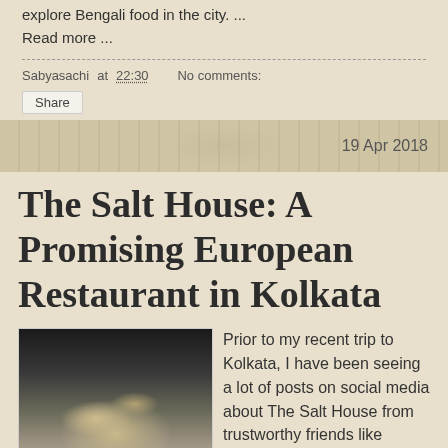explore Bengali food in the city. ...
Read more ...
Sabyasachi at 22:30   No comments:
Share
19 Apr 2018
The Salt House: A Promising European Restaurant in Kolkata
[Figure (photo): Photo of a dish at The Salt House restaurant, showing sliced pieces of meat or fish with garnish on a white plate]
Prior to my recent trip to Kolkata, I have been seeing a lot of posts on social media about The Salt House from trustworthy friends like Rukshana and Anindya.